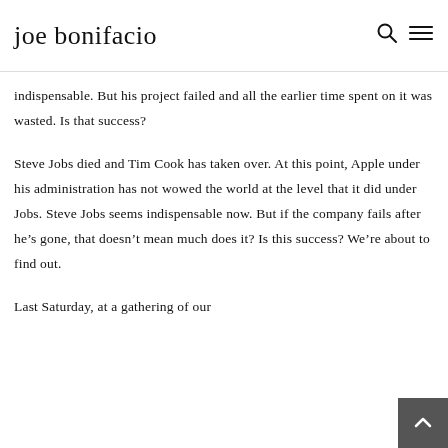joe bonifacio
indispensable. But his project failed and all the earlier time spent on it was wasted. Is that success?
Steve Jobs died and Tim Cook has taken over. At this point, Apple under his administration has not wowed the world at the level that it did under Jobs. Steve Jobs seems indispensable now. But if the company fails after he’s gone, that doesn’t mean much does it? Is this success? We’re about to find out.
Last Saturday, at a gathering of our